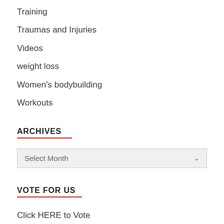Training
Traumas and Injuries
Videos
weight loss
Women's bodybuilding
Workouts
ARCHIVES
Select Month
VOTE FOR US
Click HERE to Vote